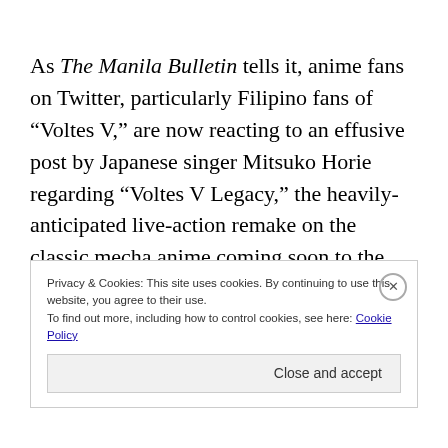As The Manila Bulletin tells it, anime fans on Twitter, particularly Filipino fans of “Voltes V,” are now reacting to an effusive post by Japanese singer Mitsuko Horie regarding “Voltes V Legacy,” the heavily-anticipated live-action remake on the classic mecha anime coming soon to the Kapuso network. Horie performed the opening theme, “Voltes V no
Privacy & Cookies: This site uses cookies. By continuing to use this website, you agree to their use.
To find out more, including how to control cookies, see here: Cookie Policy

Close and accept